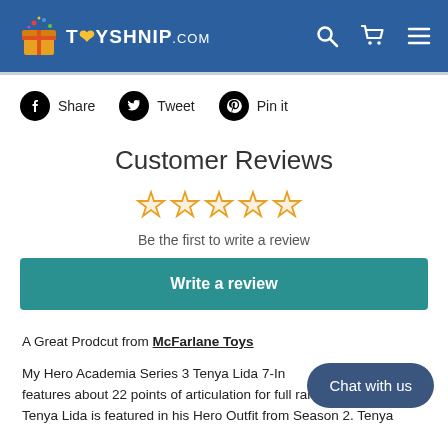TOYSHNIP.COM
Share   Tweet   Pin it
Customer Reviews
Be the first to write a review
Write a review
A Great Prodcut from McFarlane Toys
My Hero Academia Series 3 Tenya Lida 7-In features about 22 points of articulation for full range of posing. Tenya Lida is featured in his Hero Outfit from Season 2. Tenya